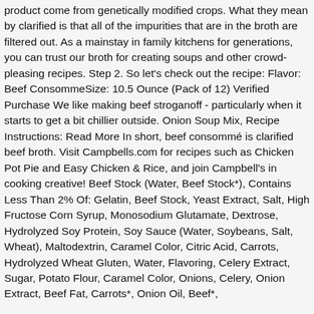product come from genetically modified crops. What they mean by clarified is that all of the impurities that are in the broth are filtered out. As a mainstay in family kitchens for generations, you can trust our broth for creating soups and other crowd-pleasing recipes. Step 2. So let's check out the recipe: Flavor: Beef ConsommeSize: 10.5 Ounce (Pack of 12) Verified Purchase We like making beef stroganoff - particularly when it starts to get a bit chillier outside. Onion Soup Mix, Recipe Instructions: Read More In short, beef consommé is clarified beef broth. Visit Campbells.com for recipes such as Chicken Pot Pie and Easy Chicken & Rice, and join Campbell's in cooking creative! Beef Stock (Water, Beef Stock*), Contains Less Than 2% Of: Gelatin, Beef Stock, Yeast Extract, Salt, High Fructose Corn Syrup, Monosodium Glutamate, Dextrose, Hydrolyzed Soy Protein, Soy Sauce (Water, Soybeans, Salt, Wheat), Maltodextrin, Caramel Color, Citric Acid, Carrots, Hydrolyzed Wheat Gluten, Water, Flavoring, Celery Extract, Sugar, Potato Flour, Caramel Color, Onions, Celery, Onion Extract, Beef Fat, Carrots*, Onion Oil, Beef*,